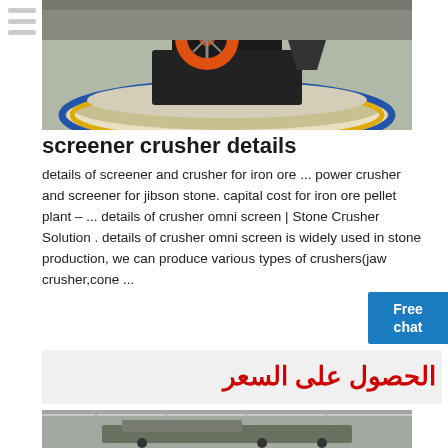[Figure (photo): Industrial crusher machine with orange flywheel on a circular platform with yellow and blue painted edges, surrounded by crushed stone/gravel in a factory setting.]
screener crusher details
details of screener and crusher for iron ore ... power crusher and screener for jibson stone. capital cost for iron ore pellet plant – ... details of crusher omni screen | Stone Crusher Solution . details of crusher omni screen is widely used in stone production, we can produce various types of crushers(jaw crusher,cone ...
Free chat
الحصول على السعر
[Figure (photo): Mobile crusher unit — a large industrial mobile jaw/screener crusher mounted on a truck chassis inside a large industrial warehouse/factory hall with steel roof trusses.]